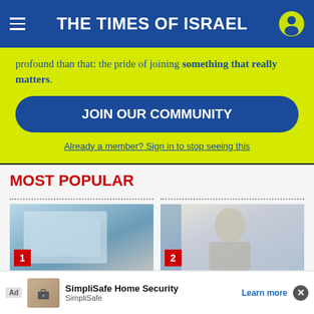THE TIMES OF ISRAEL
profound than that: the pride of joining something that really matters.
JOIN OUR COMMUNITY
Already a member? Sign in to stop seeing this
MOST POPULAR
[Figure (photo): Article thumbnail image #1 with red number badge '1']
[Figure (photo): Article thumbnail image #2 showing a woman, with red number badge '2']
Pale
her
Ad SimplliSafe Home Security SimpliSafe Learn more